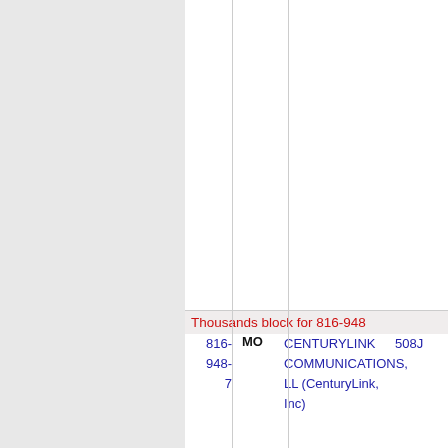| Number | State | Company Name | Code |
| --- | --- | --- | --- |
| 816-948-7 | MO | CENTURYLINK COMMUNICATIONS, LL (CenturyLink, Inc) | 508J |
| 816-974-5 | MO | CENTURYLINK COMMUNICATIONS, LL (CenturyLink, Inc) | 508J |